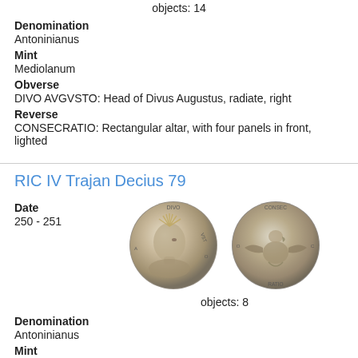objects: 14
Denomination
Antoninianus
Mint
Mediolanum
Obverse
DIVO AVGVSTO: Head of Divus Augustus, radiate, right
Reverse
CONSECRATIO: Rectangular altar, with four panels in front, lighted
RIC IV Trajan Decius 79
Date
250 - 251
[Figure (photo): Two ancient Roman silver coins shown side by side. Left coin (obverse) shows a radiate portrait bust facing right with legend DIVO AVGVSTO. Right coin (reverse) shows an eagle with spread wings with legend CONSECRATIO.]
objects: 8
Denomination
Antoninianus
Mint